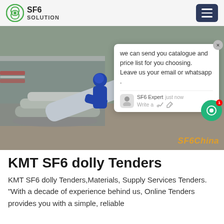SF6 SOLUTION
[Figure (photo): Two workers in blue protective suits and helmets handling large cylindrical gas cylinders (SF6) at an industrial outdoor facility. An SF6 Expert chat popup overlay is visible in the lower-right portion of the image with text: 'we can send you catalogue and price list for you choosing. Leave us your email or whatsapp .' and a watermark 'SF6China' in orange at the bottom right.]
KMT SF6 dolly Tenders
KMT SF6 dolly Tenders,Materials, Supply Services Tenders. "With a decade of experience behind us, Online Tenders provides you with a simple, reliable